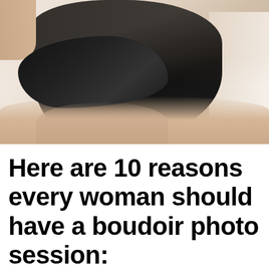[Figure (photo): A boudoir-style photograph of a woman in a black dress/garment, kneeling on a bed with white bedding visible on the right. The photo is taken from behind, showing her back and lower body. The image is high contrast with dark clothing against lighter skin tones and white background.]
Here are 10 reasons every woman should have a boudoir photo session: